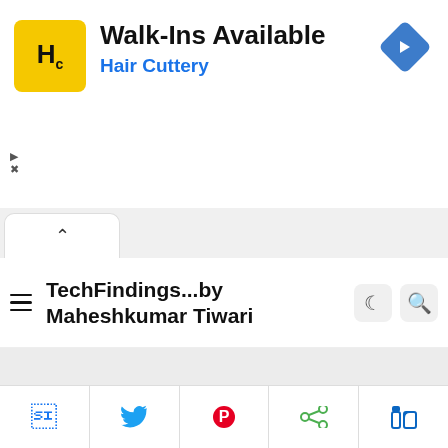[Figure (screenshot): Advertisement banner for Hair Cuttery with logo, 'Walk-Ins Available' text, and navigation arrow icon]
TechFindings...by Maheshkumar Tiwari
[Figure (screenshot): Gray content/loading area of the website]
Our website uses cookies to improve your experience.
[Figure (screenshot): Social share bar with Facebook, Twitter, Pinterest, Share, and LinkedIn icons]